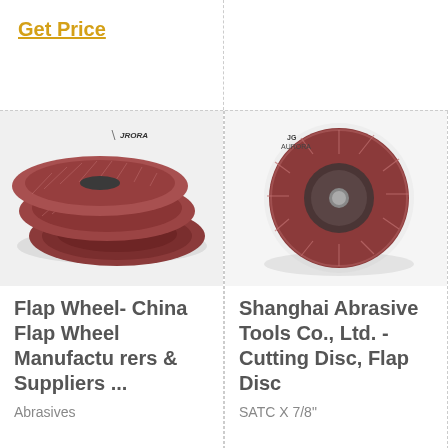Get Price
[Figure (photo): Stack of flap wheels/discs with reddish-brown abrasive cloth fanned out, with AURORA logo watermark]
[Figure (photo): Single flap disc viewed from above showing abrasive flaps arranged in circular pattern, with AURORA logo watermark]
Flap Wheel- China Flap Wheel Manufacturers & Suppliers ...
Shanghai Abrasive Tools Co., Ltd. - Cutting Disc, Flap Disc
Abrasives
SATC X 7/8"